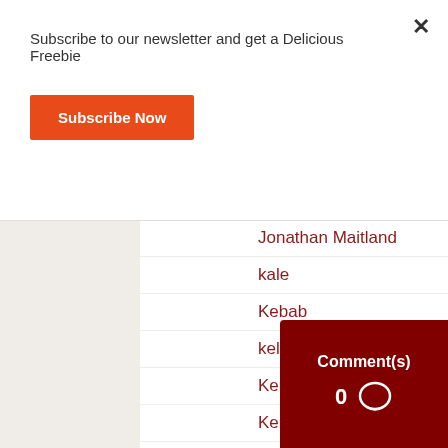Subscribe to our newsletter and get a Delicious Freebie
Subscribe Now
Jonathan Maitland
kale
Kebab
kelewele
Kent
Kenya
Kenyan Tea
Kitchen
Kneading
koose
Comment(s) 0